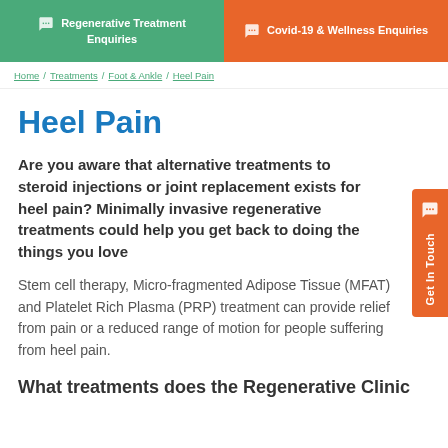Regenerative Treatment Enquiries | Covid-19 & Wellness Enquiries
Home / Treatments / Foot & Ankle / Heel Pain
Heel Pain
Are you aware that alternative treatments to steroid injections or joint replacement exists for heel pain? Minimally invasive regenerative treatments could help you get back to doing the things you love
Stem cell therapy, Micro-fragmented Adipose Tissue (MFAT) and Platelet Rich Plasma (PRP) treatment can provide relief from pain or a reduced range of motion for people suffering from heel pain.
What treatments does the Regenerative Clinic